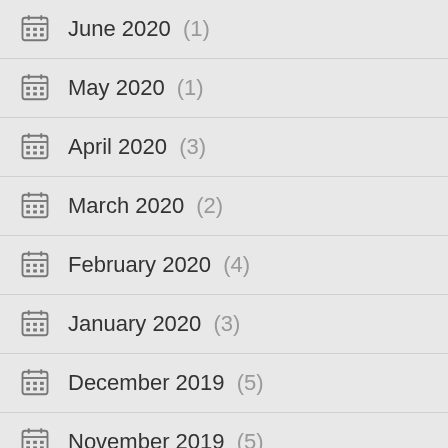June 2020 (1)
May 2020 (1)
April 2020 (3)
March 2020 (2)
February 2020 (4)
January 2020 (3)
December 2019 (5)
November 2019 (5)
October 2019 (7)
September 2019 (5)